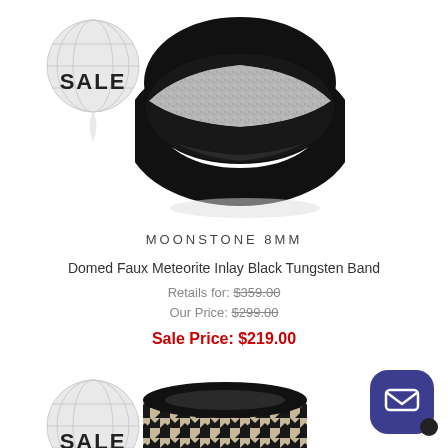[Figure (photo): SALE badge with globe/pin icon background, first product]
[Figure (photo): Black tungsten band ring with moonstone/faux meteorite inlay, domed style]
MOONSTONE 8MM
Domed Faux Meteorite Inlay Black Tungsten Band
Retails for: $359.00
Our Price: $299.00
Sale Price: $219.00
[Figure (photo): SALE badge with globe/pin icon background, second product]
[Figure (photo): Black tungsten band ring with houndstooth pattern inlay, flat style]